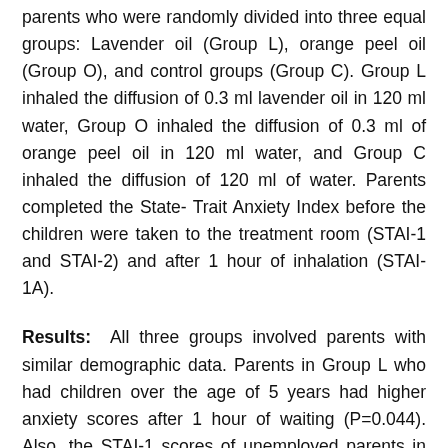parents who were randomly divided into three equal groups: Lavender oil (Group L), orange peel oil (Group O), and control groups (Group C). Group L inhaled the diffusion of 0.3 ml lavender oil in 120 ml water, Group O inhaled the diffusion of 0.3 ml of orange peel oil in 120 ml water, and Group C inhaled the diffusion of 120 ml of water. Parents completed the State-Trait Anxiety Index before the children were taken to the treatment room (STAI-1 and STAI-2) and after 1 hour of inhalation (STAI-1A).
Results: All three groups involved parents with similar demographic data. Parents in Group L who had children over the age of 5 years had higher anxiety scores after 1 hour of waiting (P=0.044). Also, the STAI-1 scores of unemployed parents in Group C were higher (P=0.021). In Group O, STAI-1A scores were higher than STAI-2 scores (P=0.038). The changes in STAI-1 and STAI-1A scores were similar between the groups (P=0.074).